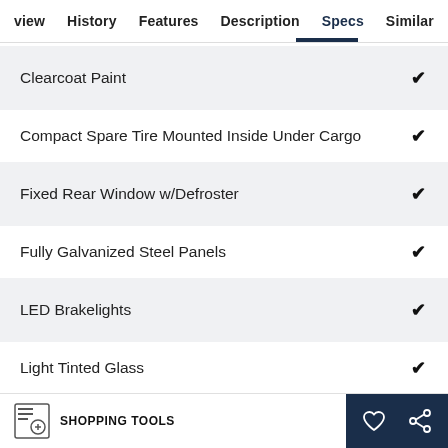view  History  Features  Description  Specs  Similar
Clearcoat Paint ✓
Compact Spare Tire Mounted Inside Under Cargo ✓
Fixed Rear Window w/Defroster ✓
Fully Galvanized Steel Panels ✓
LED Brakelights ✓
Light Tinted Glass ✓
SHOPPING TOOLS